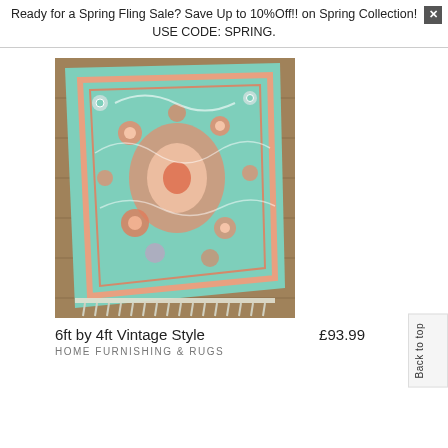Ready for a Spring Fling Sale? Save Up to 10%Off!! on Spring Collection! USE CODE: SPRING.
[Figure (photo): A teal/mint vintage-style area rug with floral and medallion pattern in coral, pink, and white, with fringe trim at the bottom edge, laid on a wooden floor at an angle.]
6ft by 4ft Vintage Style
£93.99
HOME FURNISHING & RUGS